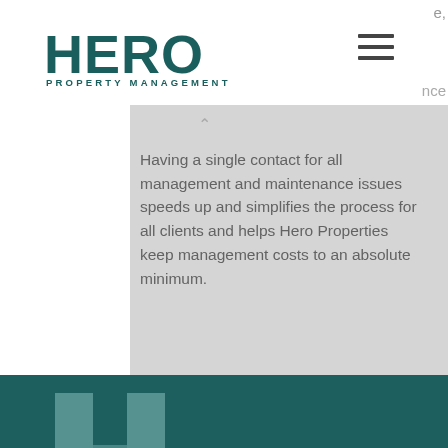[Figure (logo): Hero Property Management logo - bold teal HERO text with PROPERTY MANAGEMENT subtitle]
Having a single contact for all management and maintenance issues speeds up and simplifies the process for all clients and helps Hero Properties keep management costs to an absolute minimum.
[Figure (logo): Hero Property Management H-shaped icon in teal/grey on dark teal footer background]
Contact Us
(08) 6498 9470
reception@heropm.com.au
LinkedIn